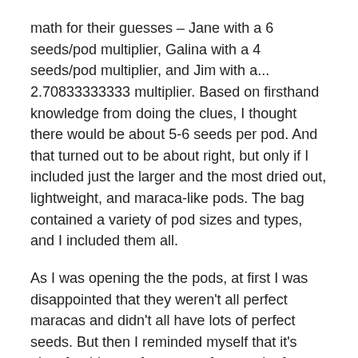math for their guesses – Jane with a 6 seeds/pod multiplier, Galina with a 4 seeds/pod multiplier, and Jim with a... 2.70833333333 multiplier. Based on firsthand knowledge from doing the clues, I thought there would be about 5-6 seeds per pod. And that turned out to be about right, but only if I included just the larger and the most dried out, lightweight, and maraca-like pods. The bag contained a variety of pod sizes and types, and I included them all.
As I was opening the the pods, at first I was disappointed that they weren't all perfect maracas and didn't all have lots of perfect seeds. But then I reminded myself that it's okay for things – for nature, for people, for anything – not to be perfect, and that it's the actually imperfections that make things real and good. To wish or demand otherwise would be to seek something that's not there, and to court the opposite of peace and happinesses. As I was tallying the seeds, I tried keeping that in mind.